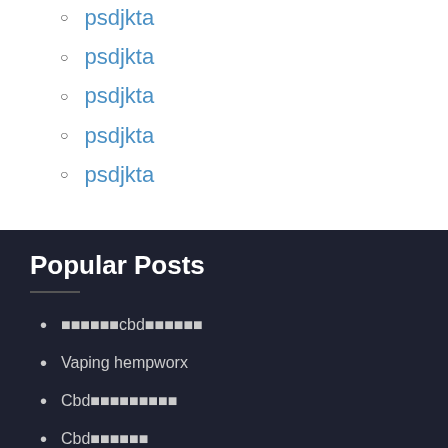psdjkta
psdjkta
psdjkta
psdjkta
psdjkta
Popular Posts
■■■■■■cbd■■■■■■
Vaping hempworx
Cbd■■■■■■■■■
Cbd■■■■■■
■■■■VA■■■■■■■■cbd■■■